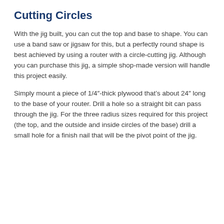Cutting Circles
With the jig built, you can cut the top and base to shape. You can use a band saw or jigsaw for this, but a perfectly round shape is best achieved by using a router with a circle-cutting jig. Although you can purchase this jig, a simple shop-made version will handle this project easily.
Simply mount a piece of 1/4"-thick plywood that’s about 24” long to the base of your router. Drill a hole so a straight bit can pass through the jig. For the three radius sizes required for this project (the top, and the outside and inside circles of the base) drill a small hole for a finish nail that will be the pivot point of the jig.